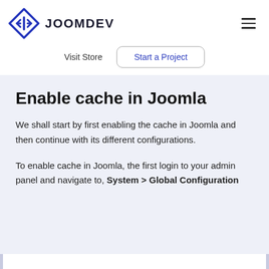[Figure (logo): JoomDev logo: blue diamond shape with 'JD' letters inside, followed by bold text 'JOOMDEV']
Visit Store   Start a Project
Enable cache in Joomla
We shall start by first enabling the cache in Joomla and then continue with its different configurations.
To enable cache in Joomla, the first login to your admin panel and navigate to, System > Global Configuration